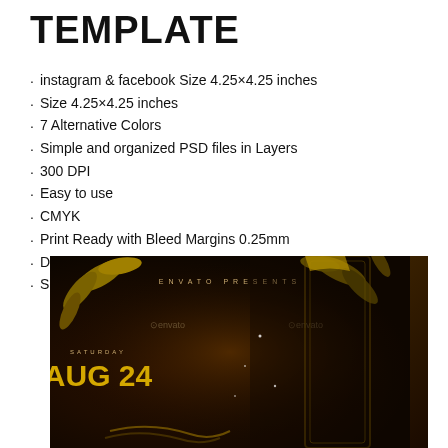TEMPLATE
instagram & facebook Size 4.25×4.25 inches
Size 4.25×4.25 inches
7 Alternative Colors
Simple and organized PSD files in Layers
300 DPI
Easy to use
CMYK
Print Ready with Bleed Margins 0.25mm
Dimensions With guidelines
Smart Object
[Figure (photo): Event flyer preview showing a woman with dark hair in gold and black styling, decorative gold leaves, text reading ENVATO PRESENTS, SATURDAY AUG 24, with Envato watermarks]